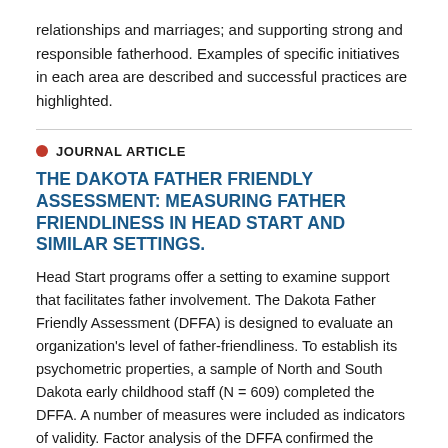relationships and marriages; and supporting strong and responsible fatherhood. Examples of specific initiatives in each area are described and successful practices are highlighted.
JOURNAL ARTICLE
THE DAKOTA FATHER FRIENDLY ASSESSMENT: MEASURING FATHER FRIENDLINESS IN HEAD START AND SIMILAR SETTINGS.
Head Start programs offer a setting to examine support that facilitates father involvement. The Dakota Father Friendly Assessment (DFFA) is designed to evaluate an organization's level of father-friendliness. To establish its psychometric properties, a sample of North and South Dakota early childhood staff (N = 609) completed the DFFA. A number of measures were included as indicators of validity. Factor analysis of the DFFA confirmed the presence of four expected factors and revealed a fifth factor (loadings ranged